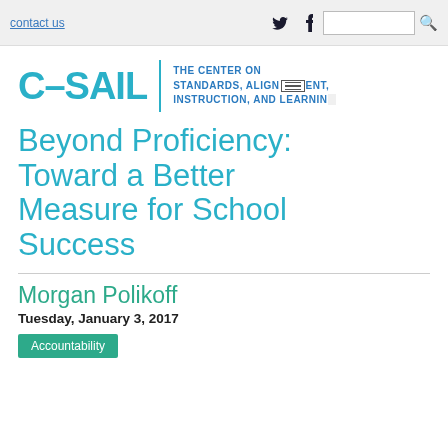contact us | Twitter | Facebook | Search
[Figure (logo): C-SAIL logo with tagline: The Center on Standards, Alignment, Instruction, and Learning]
Beyond Proficiency: Toward a Better Measure for School Success
Morgan Polikoff
Tuesday, January 3, 2017
Accountability